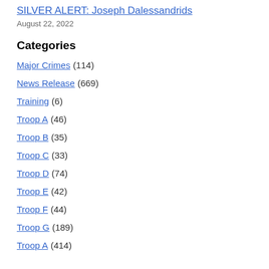SILVER ALERT: Joseph Dalessandrids
August 22, 2022
Categories
Major Crimes (114)
News Release (669)
Training (6)
Troop A (46)
Troop B (35)
Troop C (33)
Troop D (74)
Troop E (42)
Troop F (44)
Troop G (189)
Troop A (414)